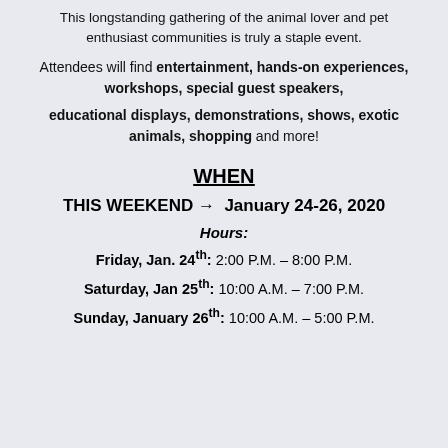This longstanding gathering of the animal lover and pet enthusiast communities is truly a staple event.
Attendees will find entertainment, hands-on experiences, workshops, special guest speakers, educational displays, demonstrations, shows, exotic animals, shopping and more!
WHEN
THIS WEEKEND → January 24-26, 2020
Hours:
Friday, Jan. 24th: 2:00 P.M. – 8:00 P.M.
Saturday, Jan 25th: 10:00 A.M. – 7:00 P.M.
Sunday, January 26th: 10:00 A.M. – 5:00 P.M.